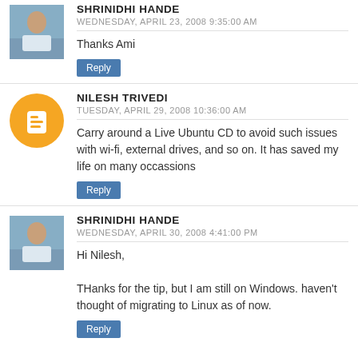SHRINIDHI HANDE
WEDNESDAY, APRIL 23, 2008 9:35:00 AM
Thanks Ami
Reply
NILESH TRIVEDI
TUESDAY, APRIL 29, 2008 10:36:00 AM
Carry around a Live Ubuntu CD to avoid such issues with wi-fi, external drives, and so on. It has saved my life on many occassions
Reply
SHRINIDHI HANDE
WEDNESDAY, APRIL 30, 2008 4:41:00 PM
Hi Nilesh,

THanks for the tip, but I am still on Windows. haven't thought of migrating to Linux as of now.
Reply